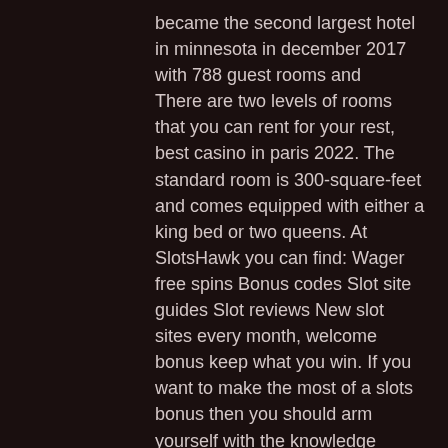became the second largest hotel in minnesota in december 2017 with 788 guest rooms and
There are two levels of rooms that you can rent for your rest, best casino in paris 2022. The standard room is 300-square-feet and comes equipped with either a king bed or two queens. At SlotsHawk you can find: Wager free spins Bonus codes Slot site guides Slot reviews New slot sites every month, welcome bonus keep what you win. If you want to make the most of a slots bonus then you should arm yourself with the knowledge surrounding wagering requirements. You can play Slots - Casino slot games with bonus and play Vegas slot games offline. With exciting list of casino games straight from the casino, spin casino games online and win casino games slot machines bonus and more, casino games most popular. Similarly plenty nearby are no,